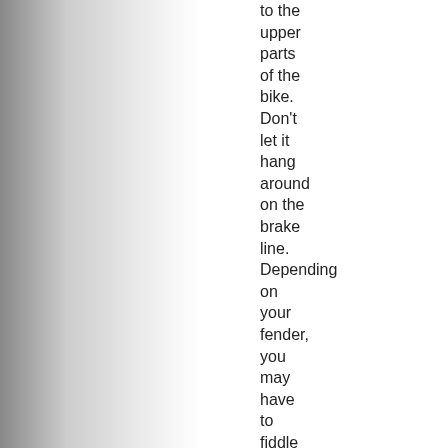to the upper parts of the bike. Don't let it hang around on the brake line. Depending on your fender, you may have to fiddle around a bit.
8. There is an allen-head